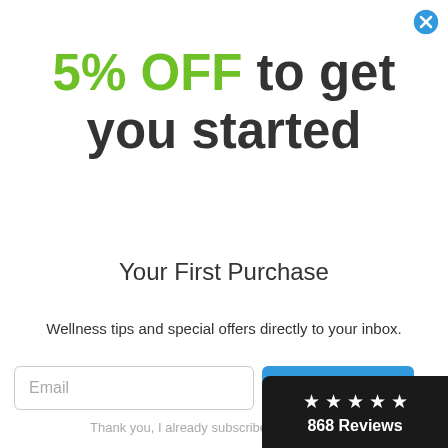[Figure (other): Blue circle close/X button in top right corner]
5% OFF to get you started
Your First Purchase
Wellness tips and special offers directly to your inbox.
Email
Send m
Thank you, I already subscribed.
[Figure (other): Dark badge showing 5 stars and 868 Reviews]